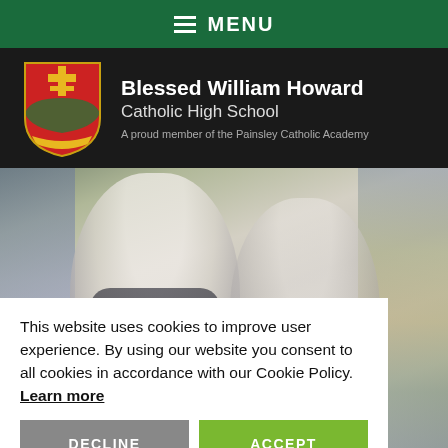MENU
[Figure (logo): Blessed William Howard Catholic High School logo with red shield crest and school name. A proud member of the Painsley Catholic Academy.]
[Figure (photo): Blurred photo of smiling students in school uniform, with colourful flowers visible in the background.]
This website uses cookies to improve user experience. By using our website you consent to all cookies in accordance with our Cookie Policy. Learn more
DECLINE
ACCEPT